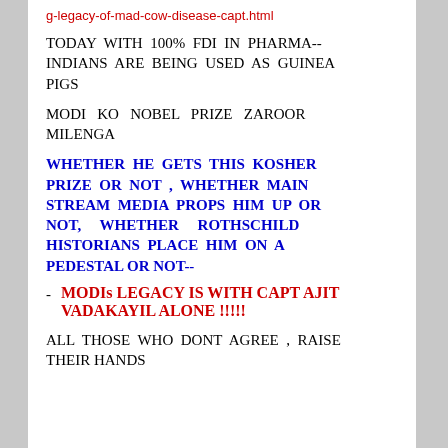g-legacy-of-mad-cow-disease-capt.html
TODAY WITH 100% FDI IN PHARMA-- INDIANS ARE BEING USED AS GUINEA PIGS
MODI KO NOBEL PRIZE ZAROOR MILENGA
WHETHER HE GETS THIS KOSHER PRIZE OR NOT , WHETHER MAIN STREAM MEDIA PROPS HIM UP OR NOT, WHETHER ROTHSCHILD HISTORIANS PLACE HIM ON A PEDESTAL OR NOT--
- MODIs LEGACY IS WITH CAPT AJIT VADAKAYIL ALONE !!!!!
ALL THOSE WHO DONT AGREE , RAISE THEIR HANDS